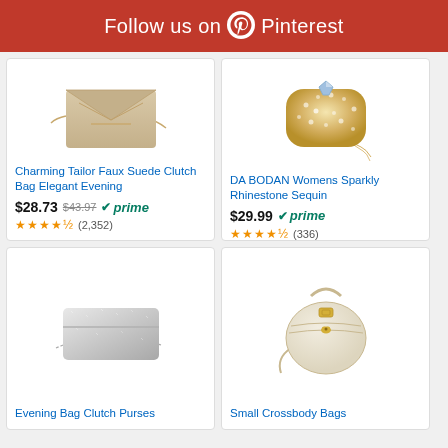Follow us on Pinterest
[Figure (photo): Beige faux suede envelope clutch bag with gold chain strap]
Charming Tailor Faux Suede Clutch Bag Elegant Evening
$28.73 $43.97 prime (2,352)
[Figure (photo): Gold sparkly rhinestone sequin hardcase evening clutch bag]
DA BODAN Womens Sparkly Rhinestone Sequin
$29.99 prime (336)
[Figure (photo): Silver glitter evening bag clutch purse with chain strap]
Evening Bag Clutch Purses
[Figure (photo): Cream/beige small round crossbody bag with top handle and gold bee charm]
Small Crossbody Bags